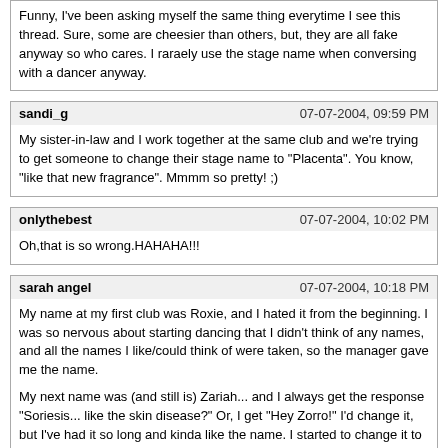Funny, I&#039;ve been asking myself the same thing everytime I see this thread. Sure, some are cheesier than others, but, they are all fake anyway so who cares. I raraely use the stage name when conversing with a dancer anyway.
sandi_g | 07-07-2004, 09:59 PM
My sister-in-law and I work together at the same club and we&#039;re trying to get someone to change their stage name to "Placenta". You know, "like that new fragrance". Mmmm so pretty! ;)
onlythebest | 07-07-2004, 10:02 PM
Oh,that is so wrong.HAHAHA!!!
sarah angel | 07-07-2004, 10:18 PM
My name at my first club was Roxie, and I hated it from the beginning. I was so nervous about starting dancing that I didn&#039;t think of any names, and all the names I like/could think of were taken, so the manager gave me the name.

My next name was (and still is) Zariah... and I always get the response "Soriesis... like the skin disease?" Or, I get "Hey Zorro!" I&#039;d change it, but I&#039;ve had it so long and kinda like the name. I started to change it to Sarah (around the time that I joined SW), but the name never stuck and so many people allready know me as Zariah.

When I worked at another club, I went by Zee, like the letter, and that was bad too. Not only does Z sould like B C D E G... especially in clubs... but the response back was "Hey, I&#039;m (name a letter)"

I&#039;ve had a series of bad names and cannot think of any better, so I have no room to criticize, but the worst name I&#039;ve heard is Ana Nicole. Ana Nicole used to work at this scummy nude club right down the street from where I work, and dancers who worked with her said she&#039;d stand in the middle